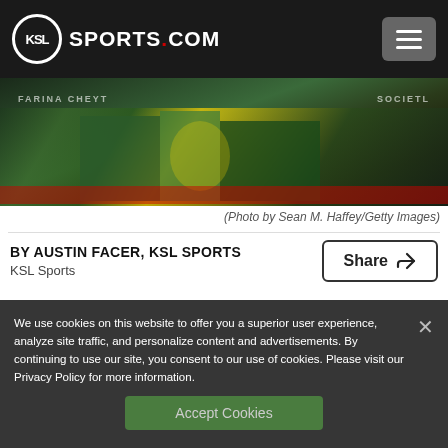KSL SPORTS.COM
[Figure (photo): Basketball player in green Baylor uniform driving during a game, partial view of court and crowd]
(Photo by Sean M. Haffey/Getty Images)
BY AUSTIN FACER, KSL SPORTS
KSL Sports
We use cookies on this website to offer you a superior user experience, analyze site traffic, and personalize content and advertisements. By continuing to use our site, you consent to our use of cookies. Please visit our Privacy Policy for more information.
Accept Cookies